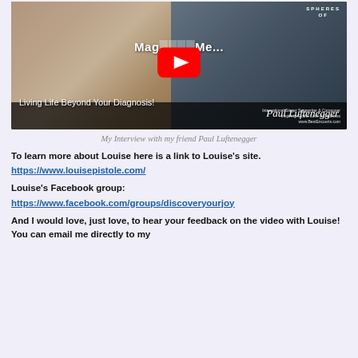[Figure (screenshot): YouTube video thumbnail showing two people - a woman on the left and a man on the right. Title overlay reads 'Living Life Beyond Your Diagnosis!' and shows 'Mag... Me...' text with a YouTube play button. Paul Luftenegger signature visible.]
My Interview with my friend Paul Luftenegger
To learn more about Louise here is a link to Louise’s site. https://www.louisepistole.com/
Louise’s Facebook group: https://www.facebook.com/groups/discoveryourjoy
And I would love, just love, to hear your feedback on the video with Louise! You can email me directly to my